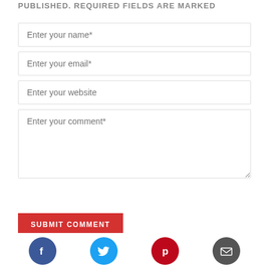PUBLISHED. REQUIRED FIELDS ARE MARKED
Enter your name*
Enter your email*
Enter your website
Enter your comment*
SUBMIT COMMENT
[Figure (other): Social media share icons: Facebook (blue circle), Twitter (cyan circle), Pinterest (red circle), Email (dark grey circle)]